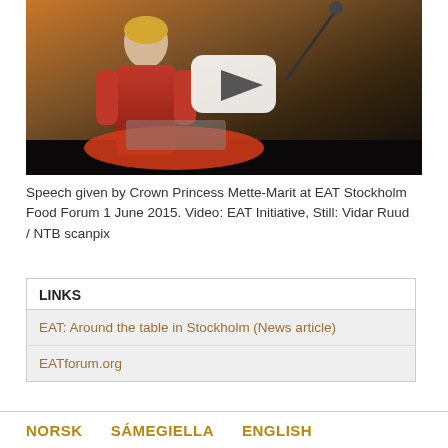[Figure (photo): Video thumbnail showing Crown Princess Mette-Marit in a red jacket standing at a podium with an orange EAT logo, with a play button overlay in the center.]
Speech given by Crown Princess Mette-Marit at EAT Stockholm Food Forum 1 June 2015. Video: EAT Initiative, Still: Vidar Ruud / NTB scanpix
LINKS
EAT: Around the table in Stockholm (News article)
EATforum.org
NORSK   SÁMEGIELLA   ENGLISH